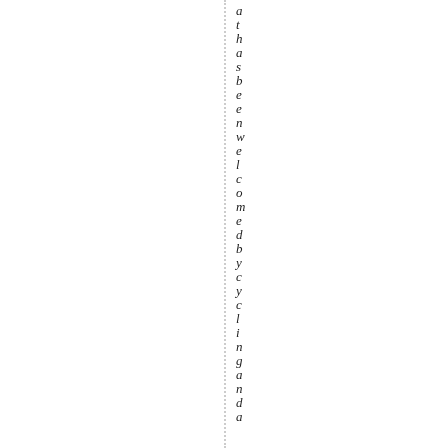at has been welcomed by cycling and a nd a